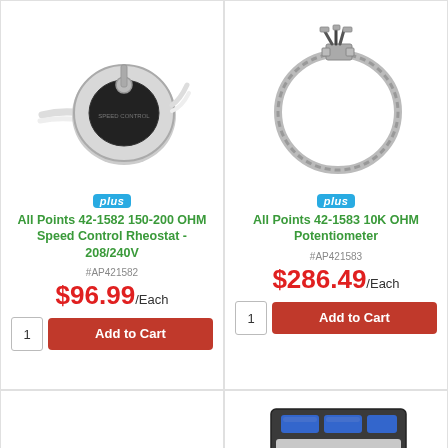[Figure (photo): All Points 42-1582 speed control rheostat product photo showing a circular rheostat with white cables]
plus
All Points 42-1582 150-200 OHM Speed Control Rheostat - 208/240V
#AP421582
$96.99/Each
[Figure (photo): All Points 42-1583 potentiometer product photo showing a circular loop sensor with a bracket]
plus
All Points 42-1583 10K OHM Potentiometer
#AP421583
$286.49/Each
[Figure (photo): Partial product photo of a rheostat at bottom left]
[Figure (photo): Partial product photo of an ON/OFF switch or meter panel at bottom right]